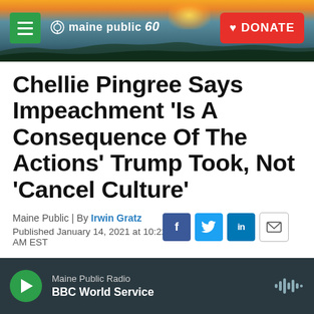maine public 60 | DONATE
Chellie Pingree Says Impeachment 'Is A Consequence Of The Actions' Trump Took, Not 'Cancel Culture'
Maine Public | By Irwin Gratz
Published January 14, 2021 at 10:22 AM EST
Maine Public Radio
BBC World Service